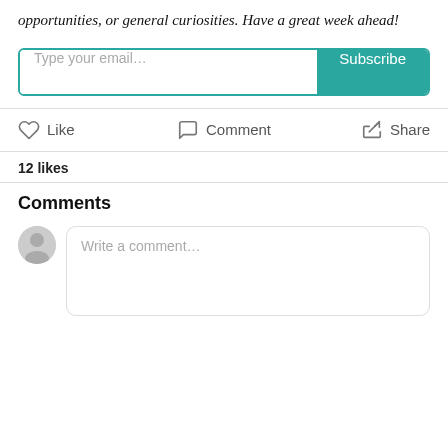opportunities, or general curiosities. Have a great week ahead!
[Figure (other): Email subscription input field with teal Subscribe button]
[Figure (other): Action bar with Like, Comment, and Share buttons with icons]
12 likes
Comments
[Figure (other): Comment input area with anonymous user avatar and Write a comment... placeholder text box]